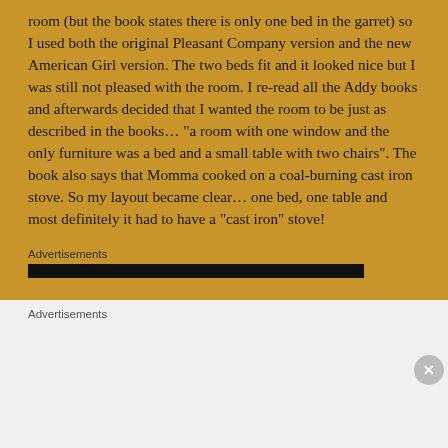room (but the book states there is only one bed in the garret) so I used both the original Pleasant Company version and the new American Girl version. The two beds fit and it looked nice but I was still not pleased with the room. I re-read all the Addy books and afterwards decided that I wanted the room to be just as described in the books... "a room with one window and the only furniture was a bed and a small table with two chairs". The book also says that Momma cooked on a coal-burning cast iron stove. So my layout became clear... one bed, one table and most definitely it had to have a "cast iron" stove!
Advertisements
Advertisements